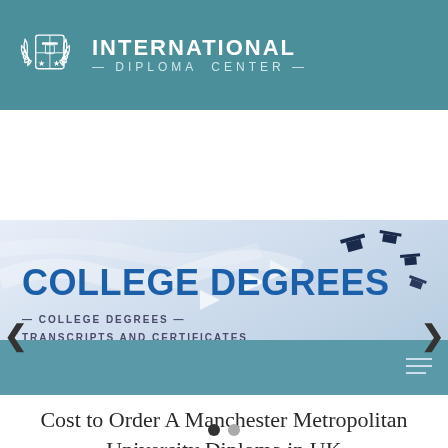[Figure (logo): International Diploma Center logo with emblem and text in teal header bar]
[Figure (screenshot): Website banner slider showing 'COLLEGE DEGREES — COLLEGE DEGREES — TRANSCRIPTS AND CERTIFICATES' with graduation cap imagery, left/right arrows, and two navigation dots]
Cost to Order A Manchester Metropolitan University Diploma in UK
[Figure (photo): Photo of Manchester Metropolitan University diploma with red stripe border and university coat of arms crest]